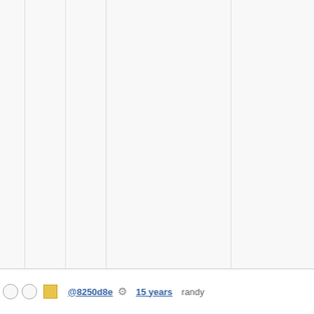|  |  |  |  |  |  | krejzi/svn lazarus perl-module qt5new sys... 11177 13485 tru... upgradedb xry111/intlt xry111/test 20220226 |
Added new package Libgcrypt- git-svn-id:
| 10.0 | 10. |
| 11.0 | 11. |
| 11.2 | 6.3 |
| rc1 | 6.3-rc2 |
| rc3 | 7.10 |
| 7.5 | 7.6 |
| blfs | 7.6-sy |
| 7.7 | 7.8 |
| 8.0 | 8.1 |
| 8.3 | 8.4 |
| 9.1 | basi... |
| bdubs/sv... |  |
| elogind |  |
| kde5-1343... |  |
| kde5-1426... |  |
@8250d8e  ⚙  15 years  randy